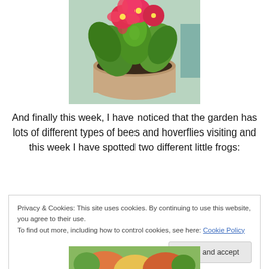[Figure (photo): A potted plant with bright red/pink flowers and large green leaves in a round clay/terracotta pot, photographed from above at a slight angle.]
And finally this week, I have noticed that the garden has lots of different types of bees and hoverflies visiting and this week I have spotted two different little frogs:
Privacy & Cookies: This site uses cookies. By continuing to use this website, you agree to their use.
To find out more, including how to control cookies, see here: Cookie Policy
Close and accept
[Figure (photo): Partial view of flowers (bottom of page, cropped).]